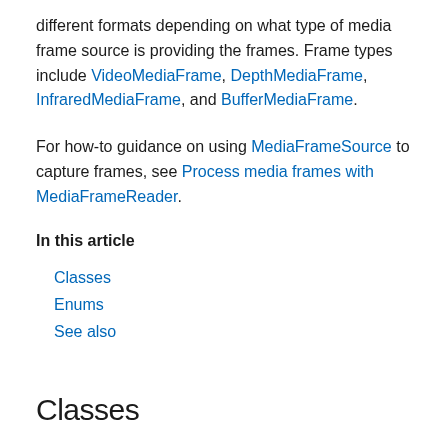different formats depending on what type of media frame source is providing the frames. Frame types include VideoMediaFrame, DepthMediaFrame, InfraredMediaFrame, and BufferMediaFrame.
For how-to guidance on using MediaFrameSource to capture frames, see Process media frames with MediaFrameReader.
In this article
Classes
Enums
See also
Classes
| Class | Description |
| --- | --- |
| AudioMediaFrame | Represents a frame of audio data retrieved from... |